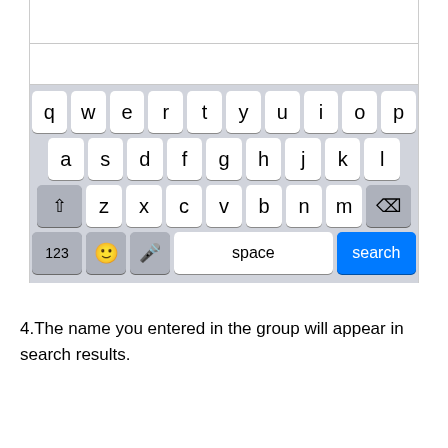[Figure (screenshot): iOS mobile keyboard screenshot showing QWERTY layout with a blue 'search' key, displayed within a phone UI context showing an empty search/text area above the keyboard.]
4.The name you entered in the group will appear in search results.